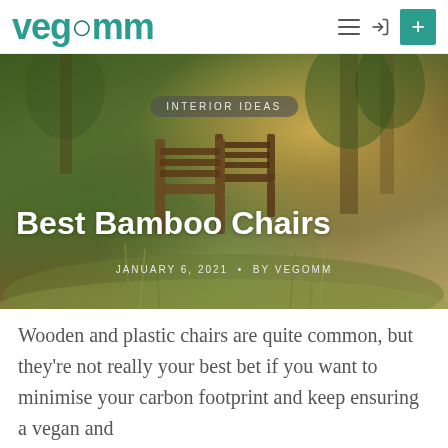vegomm
[Figure (photo): Outdoor scene with wooden/bamboo chairs in a grassy natural setting, with trees in the background. Dark moody nature photography.]
INTERIOR IDEAS
Best Bamboo Chairs
JANUARY 6, 2021 • BY VEGOMM
Wooden and plastic chairs are quite common, but they're not really your best bet if you want to minimise your carbon footprint and keep ensuring a vegan and